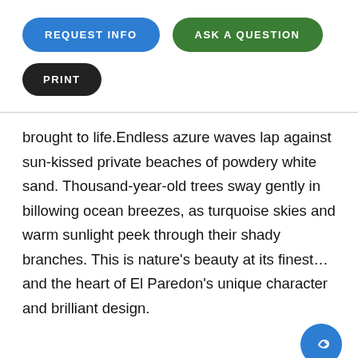[Figure (other): Three UI buttons: 'REQUEST INFO' (blue pill), 'ASK A QUESTION' (green pill), and 'PRINT' (dark/black pill)]
brought to life.Endless azure waves lap against sun-kissed private beaches of powdery white sand. Thousand-year-old trees sway gently in billowing ocean breezes, as turquoise skies and warm sunlight peek through their shady branches. This is nature's beauty at its finest... and the heart of El Paredon's unique character and brilliant design.
Property View